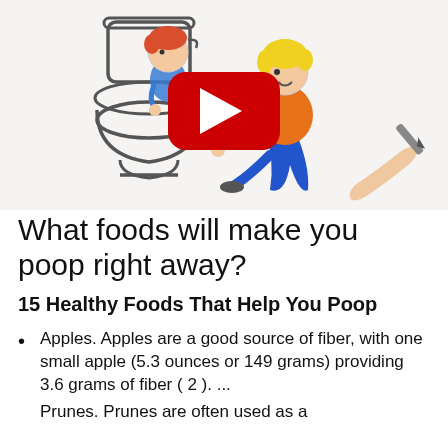[Figure (illustration): A whiteboard-style drawing showing two cartoon children near a toilet. One child with red hair sits on/behind the toilet wearing a blue shirt, another child with yellow hair wears an orange shirt and blue pants. A red YouTube play button overlay is in the center. A hand holding a marker is visible at the bottom right, suggesting a whiteboard animation.]
What foods will make you poop right away?
15 Healthy Foods That Help You Poop
Apples. Apples are a good source of fiber, with one small apple (5.3 ounces or 149 grams) providing 3.6 grams of fiber ( 2 ). ...
Prunes. Prunes are often used as a...